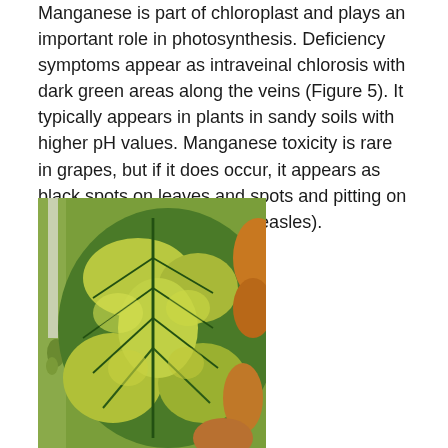Manganese is part of chloroplast and plays an important role in photosynthesis. Deficiency symptoms appear as intraveinal chlorosis with dark green areas along the veins (Figure 5). It typically appears in plants in sandy soils with higher pH values. Manganese toxicity is rare in grapes, but if it does occur, it appears as black spots on leaves and spots and pitting on shoots and bunch stems (measles).
[Figure (photo): Close-up photograph of a grape leaf showing manganese deficiency symptoms: intraveinal chlorosis with yellowing between the veins and dark green areas along the veins. Leaf stem visible on left with small grape clusters. Some brown/orange areas visible at leaf edges.]